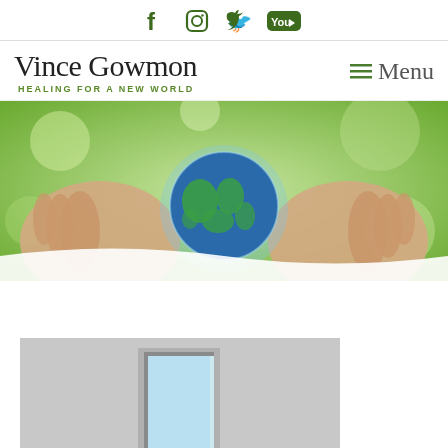[Figure (screenshot): Social media icons: Facebook, Instagram, Twitter, YouTube in dark green]
Vince Gowmon
HEALING FOR A NEW WORLD
Menu
[Figure (photo): Hands holding a glowing Earth globe against a green bokeh background]
[Figure (photo): An open door with light blue sky visible, set in a gray wall]